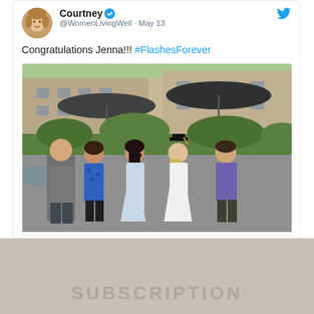[Figure (screenshot): A Twitter/social media post by Courtney (@WomenLivingWell) from May 13 saying 'Congratulations Jenna!!! #FlashesForever' with a graduation photo showing five people posing outdoors near a building with patio umbrellas. One person wearing a graduation cap.]
SUBSCRIPTION